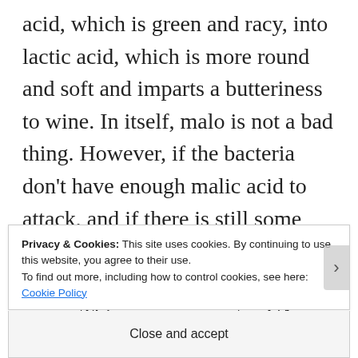acid, which is green and racy, into lactic acid, which is more round and soft and imparts a butteriness to wine. In itself, malo is not a bad thing. However, if the bacteria don't have enough malic acid to attack, and if there is still some residual sugar left in the wine, then the bacteria will attack the sugar. This process creates VA, which is the main problem for winemakers who don't use
Privacy & Cookies: This site uses cookies. By continuing to use this website, you agree to their use.
To find out more, including how to control cookies, see here: Cookie Policy
Close and accept